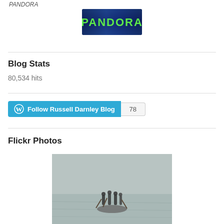PANDORA
[Figure (logo): Pandora logo: dark blue/purple background with green 'PANDORA' text]
Blog Stats
80,534 hits
[Figure (other): Follow Russell Darnley Blog button with WordPress icon and follower count of 78]
Flickr Photos
[Figure (photo): Photo of people on a dragon boat or raft on grey water, viewed from a distance]